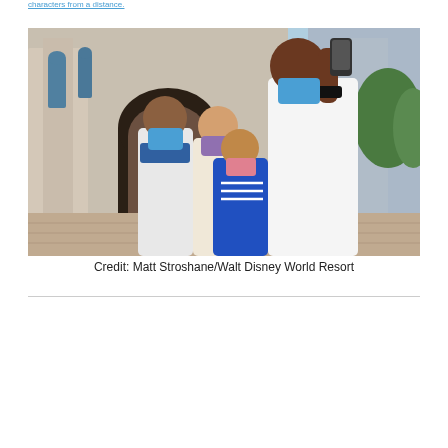characters from a distance.
[Figure (photo): A family of four wearing face masks taking a selfie in front of Cinderella Castle at Walt Disney World. The father holds up a phone to take the photo. A boy in a blue Adidas shirt and a woman in a light-colored shirt stand beside two children, all wearing colorful face masks. The castle arch and ornate stonework are visible behind them.]
Credit: Matt Stroshane/Walt Disney World Resort